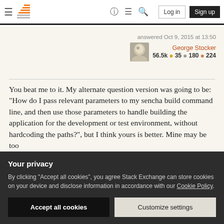Stack Exchange navigation bar with hamburger menu, logo, help, chat, search icons, Log in and Sign up buttons
answered Oct 9, 2015 at 13:50
George Stocker 56.5k • 35 • 180 • 224
You beat me to it. My alternate question version was going to be: "How do I pass relevant parameters to my sencha build command line, and then use those parameters to handle building the application for the development or test environment, without hardcoding the paths?", but I think yours is better. Mine may be too
Your privacy
By clicking "Accept all cookies", you agree Stack Exchange can store cookies on your device and disclose information in accordance with our Cookie Policy.
Accept all cookies
Customize settings